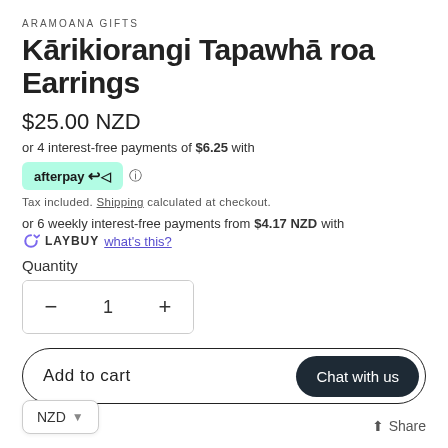ARAMOANA GIFTS
Kārikiorangi Tapawhā roa Earrings
$25.00 NZD
or 4 interest-free payments of $6.25 with afterpay
Tax included. Shipping calculated at checkout.
or 6 weekly interest-free payments from $4.17 NZD with LAYBUY what's this?
Quantity
Add to cart
Chat with us
NZD
Share